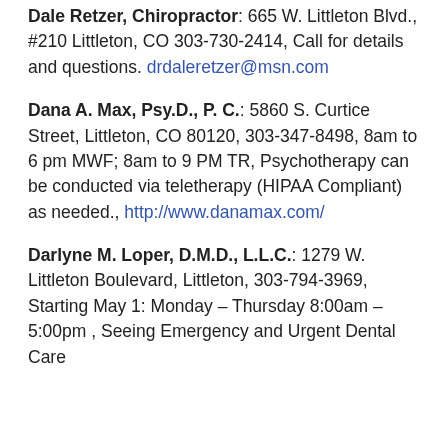Dale Retzer, Chiropractor: 665 W. Littleton Blvd., #210 Littleton, CO 303-730-2414, Call for details and questions. drdaleretzer@msn.com
Dana A. Max, Psy.D., P. C.: 5860 S. Curtice Street, Littleton, CO 80120, 303-347-8498, 8am to 6 pm MWF; 8am to 9 PM TR, Psychotherapy can be conducted via teletherapy (HIPAA Compliant) as needed., http://www.danamax.com/
Darlyne M. Loper, D.M.D., L.L.C.: 1279 W. Littleton Boulevard, Littleton, 303-794-3969, Starting May 1: Monday – Thursday 8:00am – 5:00pm , Seeing Emergency and Urgent Dental Care